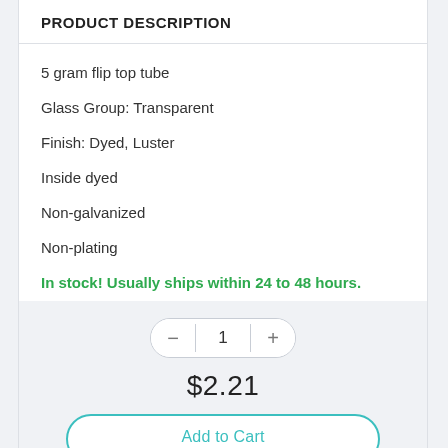PRODUCT DESCRIPTION
5 gram flip top tube
Glass Group: Transparent
Finish: Dyed, Luster
Inside dyed
Non-galvanized
Non-plating
In stock! Usually ships within 24 to 48 hours.
1
$2.21
Add to Cart